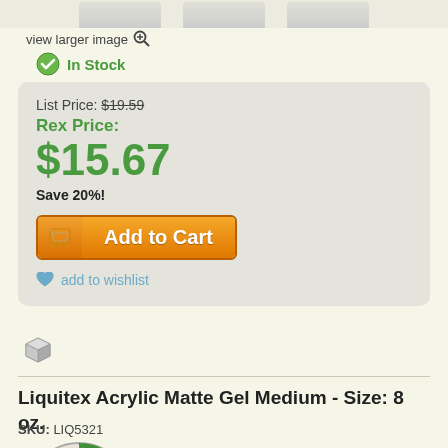[Figure (screenshot): Top edge of product thumbnail images row]
view larger image 🔍
✔ In Stock
List Price: $19.59
Rex Price:
$15.67
Save 20%!
Add to Cart
add to wishlist
[Figure (illustration): 3D box/package icon]
Liquitex Acrylic Matte Gel Medium - Size: 8 oz.
SKU: LIQ5321
[Figure (photo): Circular thumbnail showing Liquitex product with green diamond pattern, and a product bottle thumbnail]